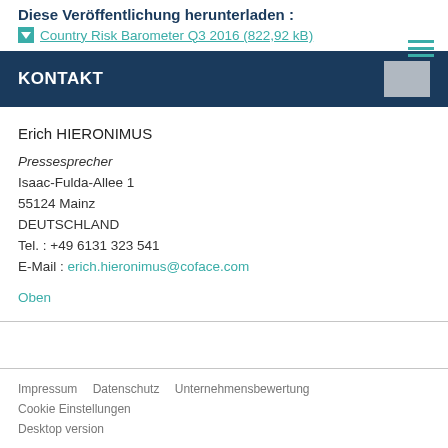Diese Veröffentlichung herunterladen :
Country Risk Barometer Q3 2016 (822,92 kB)
KONTAKT
Erich HIERONIMUS
Pressesprecher
Isaac-Fulda-Allee 1
55124 Mainz
DEUTSCHLAND
Tel. : +49 6131 323 541
E-Mail : erich.hieronimus@coface.com
Oben
Impressum   Datenschutz   Unternehmensbewertung
Cookie Einstellungen
Desktop version

Follow @Coface